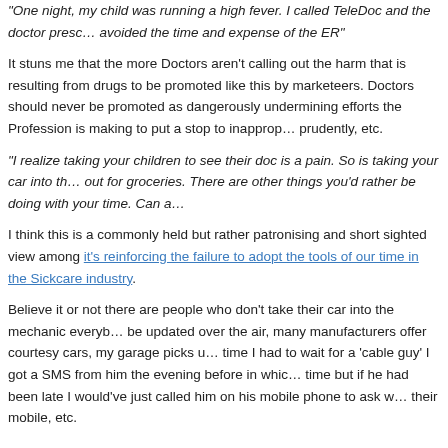"One night, my child was running a high fever. I called TeleDoc and the doctor prescribed... avoided the time and expense of the ER"
It stuns me that the more Doctors aren't calling out the harm that is resulting from drugs to be promoted like this by marketeers. Doctors should never be promoted as dangerously undermining efforts the Profession is making to put a stop to inapprop... prudently, etc.
"I realize taking your children to see their doc is a pain. So is taking your car into th... out for groceries. There are other things you'd rather be doing with your time. Can a...
I think this is a commonly held but rather patronising and short sighted view among it's reinforcing the failure to adopt the tools of our time in the Sickcare industry.
Believe it or not there are people who don't take their car into the mechanic everyb... be updated over the air, many manufacturers offer courtesy cars, my garage picks u... time I had to wait for a 'cable guy' I got a SMS from him the evening before in whic... time but if he had been late I would've just called him on his mobile phone to ask w... their mobile, etc.